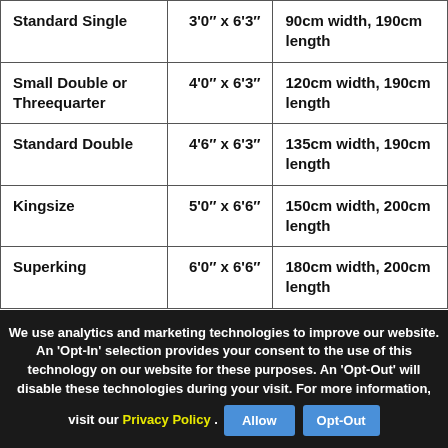| Bed Type | Imperial Size | Metric Size |
| --- | --- | --- |
| Standard Single | 3'0" x 6'3" | 90cm width, 190cm length |
| Small Double or Threequarter | 4'0" x 6'3" | 120cm width, 190cm length |
| Standard Double | 4'6" x 6'3" | 135cm width, 190cm length |
| Kingsize | 5'0" x 6'6" | 150cm width, 200cm length |
| Superking | 6'0" x 6'6" | 180cm width, 200cm length |
We use analytics and marketing technologies to improve our website. An 'Opt-In' selection provides your consent to the use of this technology on our website for these purposes. An 'Opt-Out' will disable these technologies during your visit. For more information, visit our Privacy Policy .